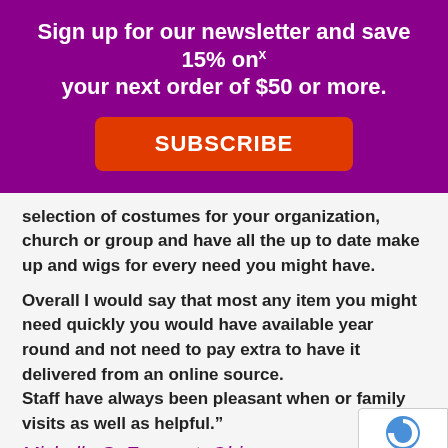Sign up for our newsletter and save 15% on your next order of $50 or more.
[Figure (other): Orange SUBSCRIBE button on purple background]
selection of costumes for your organization, church or group and have all the up to date make up and wigs for every need you might have.
Overall I would say that most any item you might need quickly you would have available year round and not need to pay extra to have it delivered from an online source. Staff have always been pleasant when or family visits as well as helpful."
Michelle S. Fremont, Ohio